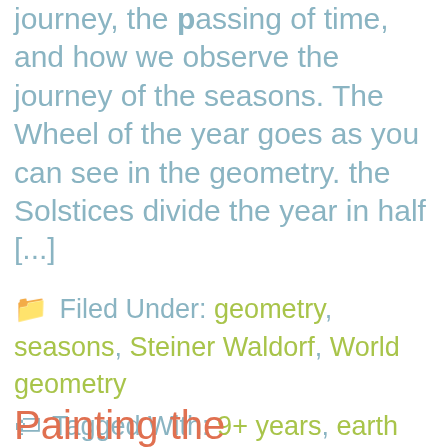journey, the passing of time, and how we observe the journey of the seasons. The Wheel of the year goes as you can see in the geometry. the Solstices divide the year in half [...]
Filed Under: geometry, seasons, Steiner Waldorf, World geometry
Tagged With: 9+ years, earth and the solar system, geometry, midsummer, seasons, solstice
Painting the...